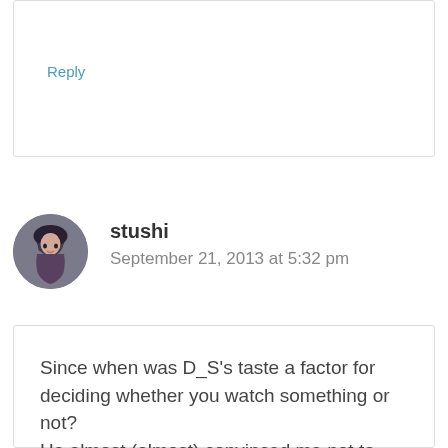Reply
stushi
September 21, 2013 at 5:32 pm
Since when was D_S's taste a factor for deciding whether you watch something or not? He almost (almost) convinced me not to watch Space Bros. I only started watching it this summer, since other people were saying lots of good stuff about it